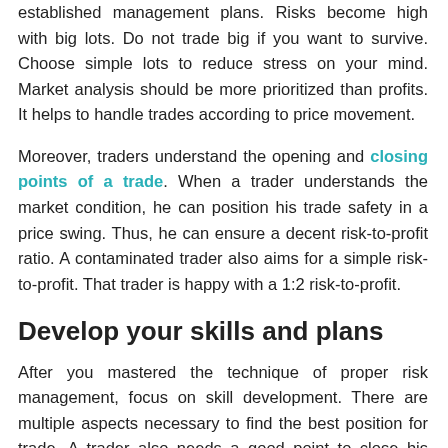established management plans. Risks become high with big lots. Do not trade big if you want to survive. Choose simple lots to reduce stress on your mind. Market analysis should be more prioritized than profits. It helps to handle trades according to price movement.
Moreover, traders understand the opening and closing points of a trade. When a trader understands the market condition, he can position his trade safety in a price swing. Thus, he can ensure a decent risk-to-profit ratio. A contaminated trader also aims for a simple risk-to-profit. That trader is happy with a 1:2 risk-to-profit.
Develop your skills and plans
After you mastered the technique of proper risk management, focus on skill development. There are multiple aspects necessary to find the best position for trade. A trader also needs a good point to close his order. If he cannot control every execution, he will fail to handle his career. Learn about trading to avoid an